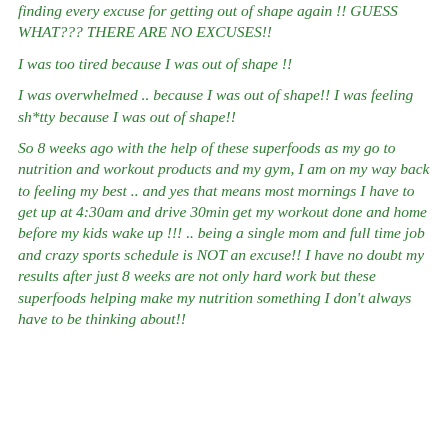finding every excuse for getting out of shape again !! GUESS WHAT??? THERE ARE NO EXCUSES!!
I was too tired because I was out of shape !!
I was overwhelmed .. because I was out of shape!! I was feeling sh*tty because I was out of shape!!
So 8 weeks ago with the help of these superfoods as my go to nutrition and workout products and my gym, I am on my way back to feeling my best .. and yes that means most mornings I have to get up at 4:30am and drive 30min get my workout done and home before my kids wake up !!! .. being a single mom and full time job and crazy sports schedule is NOT an excuse!! I have no doubt my results after just 8 weeks are not only hard work but these superfoods helping make my nutrition something I don't always have to be thinking about!!